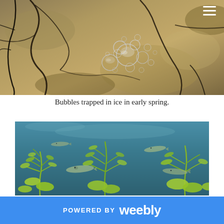[Figure (photo): Close-up photograph of bubbles trapped in ice in early spring, showing shallow water or frozen ground with dark cracks and clustered translucent bubbles visible through the ice surface.]
Bubbles trapped in ice in early spring.
[Figure (photo): Underwater photograph showing aquatic plants (bright yellow-green submerged vegetation) and fish swimming among the plants in clear blue-green water.]
POWERED BY weebly